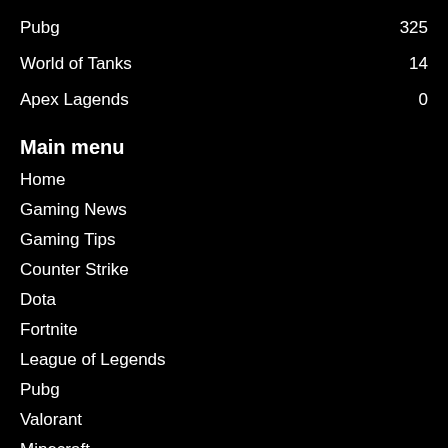Pubg  325
World of Tanks  14
Apex Lagends  0
Main menu
Home
Gaming News
Gaming Tips
Counter Strike
Dota
Fortnite
League of Legends
Pubg
Valorant
Minecraft